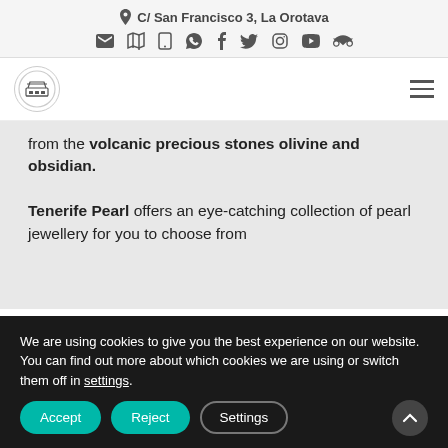C/ San Francisco 3, La Orotava
[Figure (logo): Round logo with building/tram icon]
from the volcanic precious stones olivine and obsidian. Tenerife Pearl offers an eye-catching collection of pearl jewellery for you to choose from
We are using cookies to give you the best experience on our website.
You can find out more about which cookies we are using or switch them off in settings.